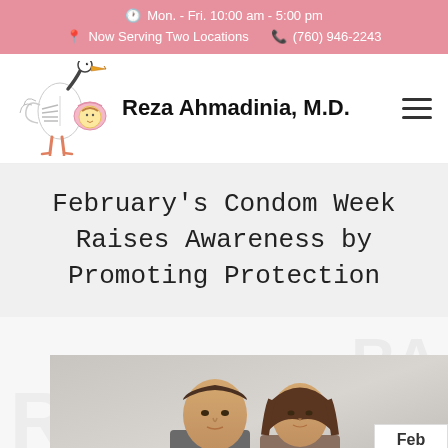Mon. - Fri. 10:00 am - 5:00 pm | Now Serving Two Locations | (760) 946-2243
[Figure (logo): Stork carrying a baby illustration logo for Reza Ahmadinia M.D. with text 'Reza Ahmadinia, M.D.']
February's Condom Week Raises Awareness by Promoting Protection
[Figure (photo): Photo of a couple (man and woman) with a date badge showing Feb 13]